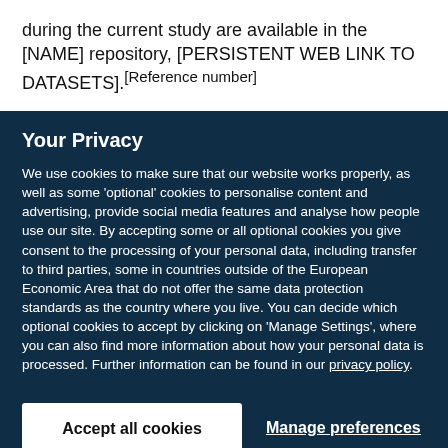during the current study are available in the [NAME] repository, [PERSISTENT WEB LINK TO DATASETS].[Reference number]
Your Privacy
We use cookies to make sure that our website works properly, as well as some 'optional' cookies to personalise content and advertising, provide social media features and analyse how people use our site. By accepting some or all optional cookies you give consent to the processing of your personal data, including transfer to third parties, some in countries outside of the European Economic Area that do not offer the same data protection standards as the country where you live. You can decide which optional cookies to accept by clicking on 'Manage Settings', where you can also find more information about how your personal data is processed. Further information can be found in our privacy policy.
Accept all cookies
Manage preferences